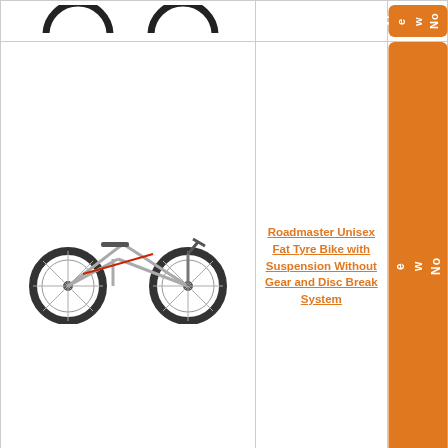| Product Image | Product Name | Action |
| --- | --- | --- |
| [bike image - partial] |  | View Now |
| [Roadmaster fat tyre bike image] | Roadmaster Unisex Fat Tyre Bike with Suspension Without Gear and Disc Break System | View Now |
| [Avon Cycles Nuke fat tyre bike image] | Avon Cycles Nuke Fat Tyre Cycle | View Now |
| [26 INCH Fat Bike image] | 26 INCH Fat Bike Fully Fitted CRADIAC Single Speed | View Now |